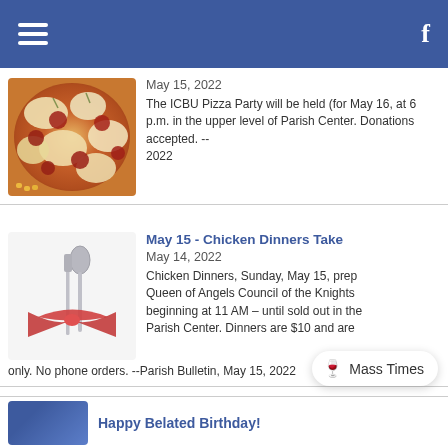Navigation bar with hamburger menu and Facebook icon
[Figure (photo): Close-up photo of a pizza with cheese, pepperoni and toppings]
May 15, 2022
The ICBU Pizza Party will be held (for May 16, at 6 p.m. in the upper level of Parish Center. Donations accepted. -- 2022
May 15 - Chicken Dinners Take
May 14, 2022
[Figure (photo): Photo of silverware (spoon and fork/knife) tied with a red ribbon on a white background]
Chicken Dinners, Sunday, May 15, prep Queen of Angels Council of the Knights beginning at 11 AM – until sold out in the Parish Center. Dinners are $10 and are only. No phone orders. --Parish Bulletin, May 15, 2022
Happy Belated Birthday!